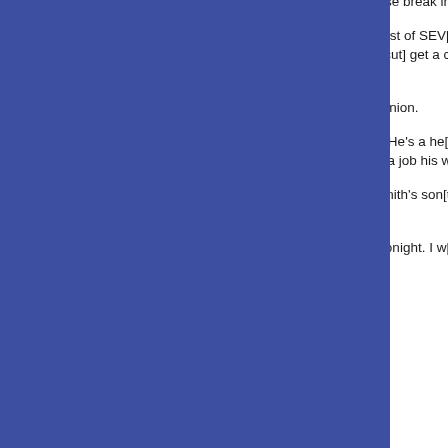[Figure (other): Large solid blue rectangle occupying the left ~74% of the page]
6) Shane Mauss: [text continues off left edge] an applause break in my ear: "So far, [text cut off]
7) Chicken Towel: [text continues] was his first of SEV[eral] maybe I should loo[k into] entertaining. But he[...] get a chance to ask the real judges in th[e...]
8) Dwayne Gill: He[...] public opinion.
9) Brad Upton: I re[member] he here? He's a he[...] in suits (they don't [...]) funny. On immigrat[ion] a job his wife woul[d...]
10) Joey Carroll: H[...] Nicole Smith's son[...] the one time he dre[...]
11) Frank Santorel[li...] be here tonight. I w[...]